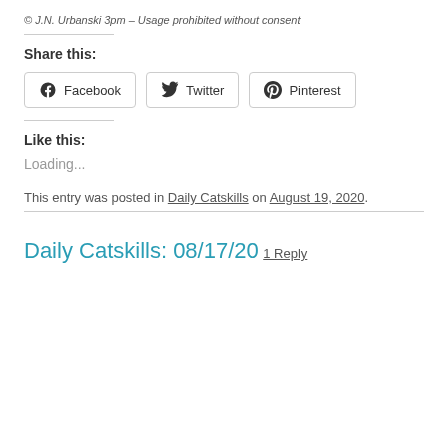© J.N. Urbanski 3pm – Usage prohibited without consent
Share this:
[Figure (other): Social share buttons: Facebook, Twitter, Pinterest]
Like this:
Loading...
This entry was posted in Daily Catskills on August 19, 2020.
Daily Catskills: 08/17/20
1 Reply